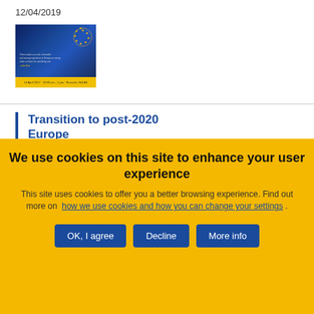12/04/2019
[Figure (photo): Thumbnail image of a European conference event with dark blue background and EU stars logo, yellow footer bar with event date text]
Transition to post-2020 Europe
Event
Conference
Budapest, Hungary
27/11/2017
We use cookies on this site to enhance your user experience
This site uses cookies to offer you a better browsing experience. Find out more on how we use cookies and how you can change your settings .
OK, I agree
Decline
More info